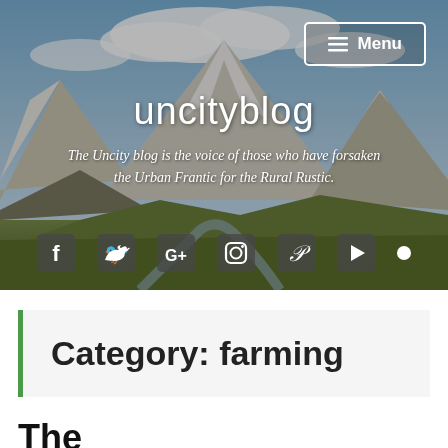[Figure (photo): Mountain landscape with snow-capped peaks, green valley, and cloudy sky — hero banner background for uncityblog]
Menu
uncityblog
The Uncity blog is the voice of those who have forsaken the Urban Frantic for the Rural Rustic.
[Figure (infographic): Row of social media icons: Facebook, Twitter, Google+, Instagram, Pinterest, YouTube, and a dot/more icon]
Category: farming
The